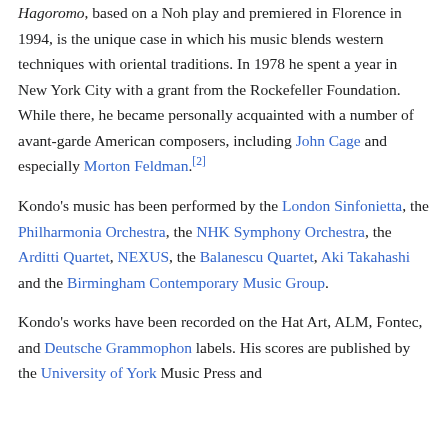Hagoromo, based on a Noh play and premiered in Florence in 1994, is the unique case in which his music blends western techniques with oriental traditions. In 1978 he spent a year in New York City with a grant from the Rockefeller Foundation. While there, he became personally acquainted with a number of avant-garde American composers, including John Cage and especially Morton Feldman.[2]
Kondo's music has been performed by the London Sinfonietta, the Philharmonia Orchestra, the NHK Symphony Orchestra, the Arditti Quartet, NEXUS, the Balanescu Quartet, Aki Takahashi and the Birmingham Contemporary Music Group.
Kondo's works have been recorded on the Hat Art, ALM, Fontec, and Deutsche Grammophon labels. His scores are published by the University of York Music Press and